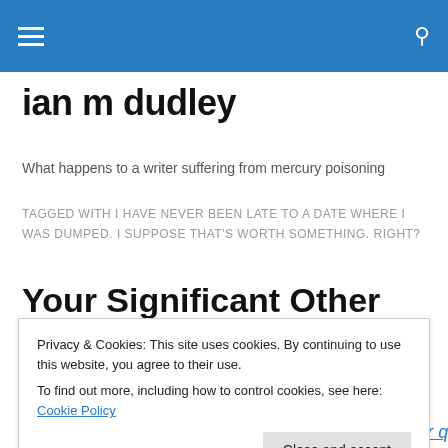Navigation bar with hamburger menu and search icon
ian m dudley
What happens to a writer suffering from mercury poisoning
TAGGED WITH I HAVE NEVER BEEN LATE TO A DATE WHERE I WAS DUMPED. I SUPPOSE THAT'S WORTH SOMETHING. RIGHT?
Your Significant Other Will
Privacy & Cookies: This site uses cookies. By continuing to use this website, you agree to their use.
To find out more, including how to control cookies, see here: Cookie Policy
likely, you've just stumbled upon this posting in your quest